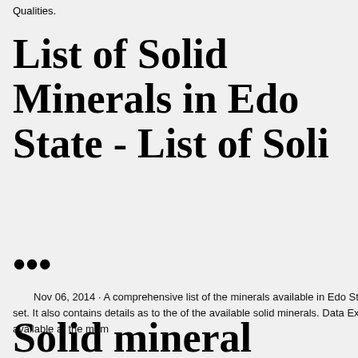Qualities.
List of Solid Minerals in Edo State - List of Solid...
...
Nov 06, 2014 · A comprehensive list of the minerals available in Edo State as at 2014 is contained in this data-set. It also contains details as to the of the available solid minerals. Data Explorer ... This resource view is not available at the mom...
[Figure (photo): Advertisement showing industrial mining/crushing machinery on orange background with 'Enjoy 3% discount' and 'Click to Chat' banner, followed by Enquiry section and email limingjlmofen@sina.com]
Solid mineral investors in Edo t... government on